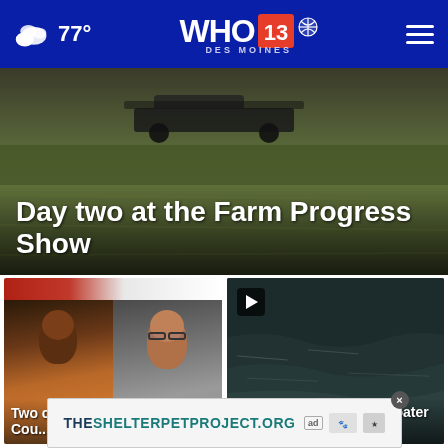WHO 13 Des Moines NBC — 77°
[Figure (screenshot): Hero image showing Farm Progress Show with dark vehicle/equipment silhouette against green field background]
Day two at the Farm Progress Show
[Figure (photo): Left card: Two mugshot photos of suspects (male in orange, female with glasses), with red/white graphic header strip]
Two charged in 2021 Clinton County ho...
[Figure (photo): Right card: Video thumbnail showing dark water scene with play button overlay]
Authorities encourage boater sa×y
THESHELTERPETPROJECT.ORG — ad banner with ad and partner logos